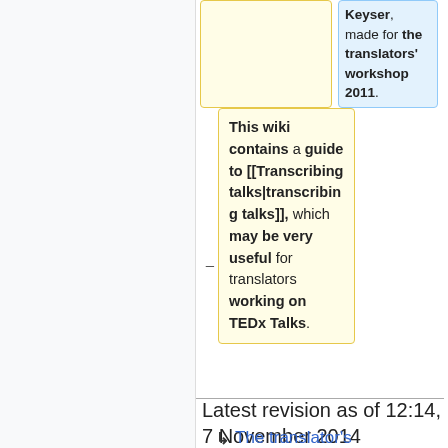Keyser, made for the translators' workshop 2011.
This wiki contains a guide to [[Transcribing talks|transcribing talks]], which may be very useful for translators working on TEDx Talks.
Latest revision as of 12:14, 7 November 2014
The translator's